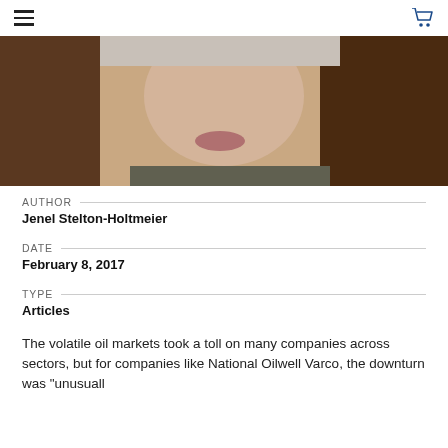☰  🛒
[Figure (photo): Cropped photo of a woman with brown hair, smiling, light background]
AUTHOR
Jenel Stelton-Holtmeier
DATE
February 8, 2017
TYPE
Articles
The volatile oil markets took a toll on many companies across sectors, but for companies like National Oilwell Varco, the downturn was "unusually